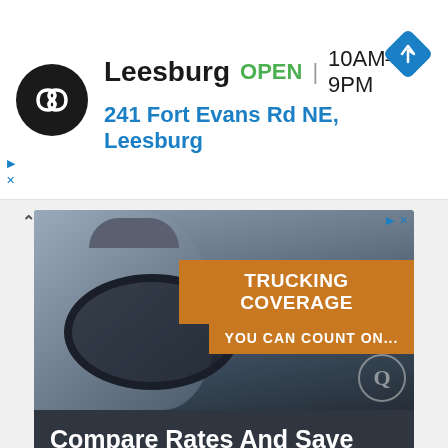[Figure (screenshot): Screenshot of a map/store listing UI showing Leesburg store with logo, open status, hours, and address]
Leesburg  OPEN  10AM–9PM
241 Fort Evans Rd NE, Leesburg
[Figure (photo): Advertisement photo: woman truck driver smiling in cab, with orange banners reading 'TRUCKING COVERAGE' and 'YOU CAN COUNT ON...']
Compare Rates And Save Money
Quantum Assurance